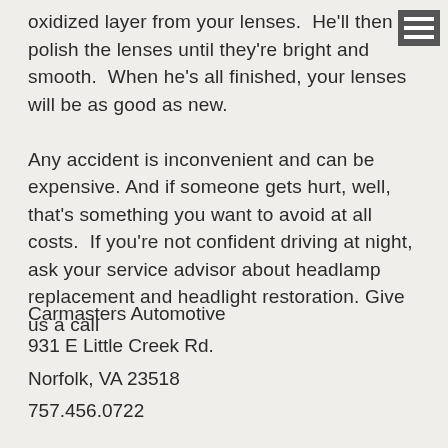oxidized layer from your lenses.  He'll then polish the lenses until they're bright and smooth.  When he's all finished, your lenses will be as good as new.  Any accident is inconvenient and can be expensive.  And if someone gets hurt, well, that's something you want to avoid at all costs.  If you're not confident driving at night, ask your service advisor about headlamp replacement and headlight restoration.  Give us a call
Carmasters Automotive
931 E Little Creek Rd.
Norfolk, VA 23518
757.456.0722